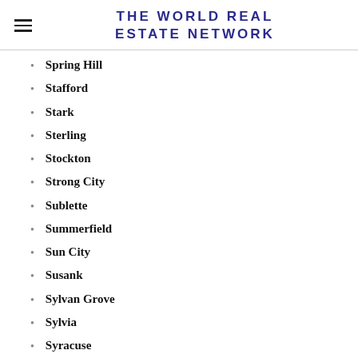THE WORLD REAL ESTATE NETWORK
Spring Hill
Stafford
Stark
Sterling
Stockton
Strong City
Sublette
Summerfield
Sun City
Susank
Sylvan Grove
Sylvia
Syracuse
Tampa
Tescott
Thayer